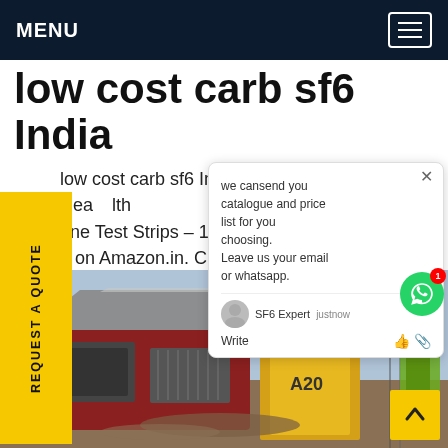MENU
low cost carb sf6 India
low cost carb sf6 India,Amazon.in: Buy Ové Health one Test Strips – 100 Stips online in a on Amazon.in. Check out Ové H e t Strips – 100 Stips reviews, rating tions l more at Amazon.in. Free Shippin very Available.Get price
[Figure (screenshot): Chat popup overlay showing message: 'we cansend you catalogue and price list for you choosing. Leave us your email or whatsapp.' with SF6 Expert agent and justnow timestamp, plus Write field with like and attachment icons.]
[Figure (photo): Industrial SF6 gas handling equipment – red and yellow machinery on a rooftop or outdoor site, worker in safety vest visible on right side.]
REQUEST A QUOTE